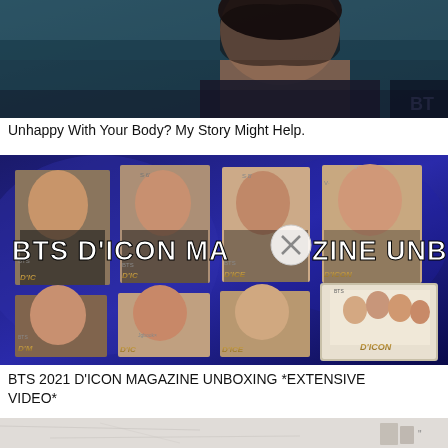[Figure (photo): Partial photo of a person sitting, wearing dark clothing, against a teal/dark background. Only upper portion is visible.]
Unhappy With Your Body? My Story Might Help.
[Figure (screenshot): Video thumbnail showing BTS D'ICON Magazine covers laid out, with bold white text reading 'BTS D'ICON MAGAZINE UNBOXING' and a play button circle overlay in the center.]
BTS 2021 D'ICON MAGAZINE UNBOXING *EXTENSIVE VIDEO*
[Figure (photo): Bottom partial photo, appears to be a marble or light-colored textured surface with some objects.]